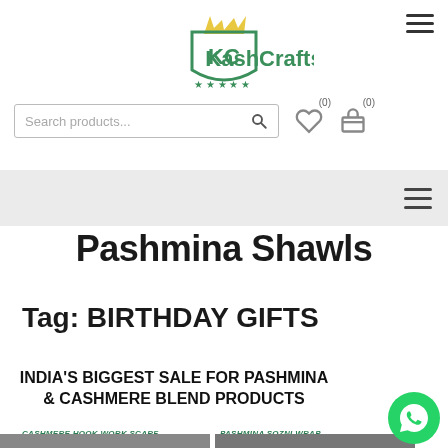KashCrafts
Pashmina Shawls
Tag: BIRTHDAY GIFTS
INDIA'S BIGGEST SALE FOR PASHMINA & CASHMERE BLEND PRODUCTS
CASHMERE HOOK WORK SCARF
PASHMINA SOZNI WRAP